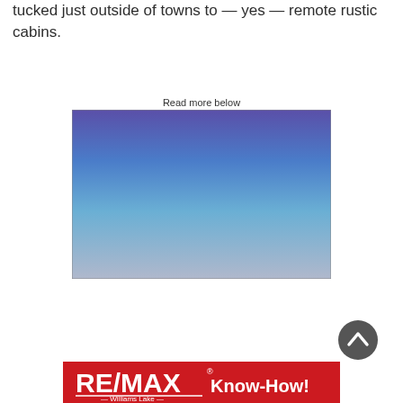tucked just outside of towns to — yes — remote rustic cabins.
Read more below
[Figure (illustration): A rectangular image with a gradient from purple/blue at the top to light blue/grey at the bottom, with a thin dark border.]
[Figure (logo): RE/MAX Know-How! Williams Lake logo on a red banner background with white text.]